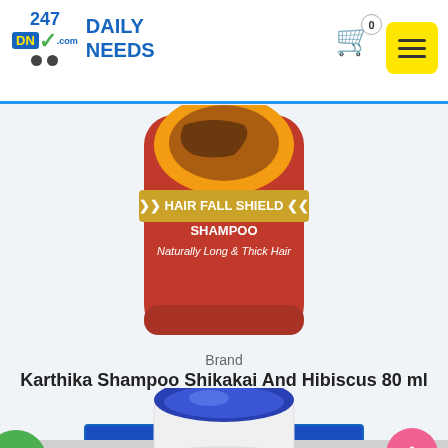247 DN Daily Needs
[Figure (photo): Karthika Hair Fall Shield Shampoo red bottle product image, partially cropped at top]
Brand
Karthika Shampoo Shikakai And Hibiscus 80 ml
☆☆☆☆☆
₹43
Read more
[Figure (photo): Second product image — white cylindrical container with blue interior, partially visible at bottom of page. Green 'New' badge on left, pink scroll-to-top button on right.]